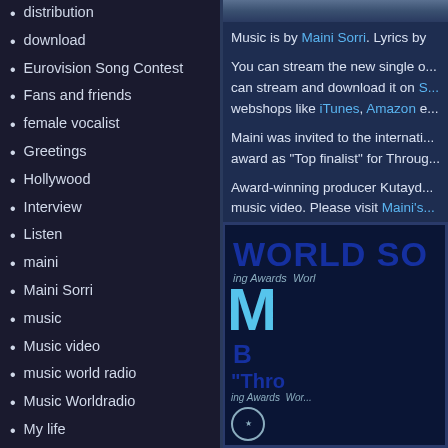distribution
download
Eurovision Song Contest
Fans and friends
female vocalist
Greetings
Hollywood
Interview
Listen
maini
Maini Sorri
music
Music video
music world radio
Music Worldradio
My life
My music
nature
Newspaper Article
playlist
pressrelease
price
Music is by Maini Sorri. Lyrics by
You can stream the new single o... can stream and download it on S... webshops like iTunes, Amazon e...
Maini was invited to the internati... award as “Top finalist” for Throug...
Award-winning producer Kutayd... music video. Please visit Maini's...
[Figure (photo): World Song Awards promotional image with text 'WORLD SO...' and 'Thro...' in blue letters on a dark blue background]